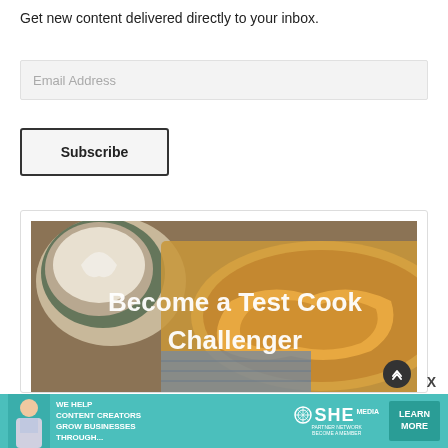Get new content delivered directly to your inbox.
Email Address
Subscribe
[Figure (photo): Food photo showing baked goods with overlay text 'Become a Test Cook Challenger']
[Figure (infographic): Advertisement banner: 'We Help Content Creators Grow Businesses Through...' with SHE Partner Network logo and 'Learn More' button]